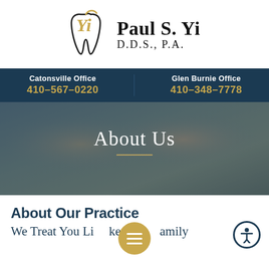[Figure (logo): Paul S. Yi DDS PA dental practice logo with tooth and cursive Yi lettering in black and gold]
Catonsville Office
410-567-0220
Glen Burnie Office
410-348-7778
[Figure (photo): Hero banner photo of a smiling older Asian couple, overlaid with semi-transparent dark background and text 'About Us' with decorative underline]
About Us
About Our Practice
We Treat You Like Family